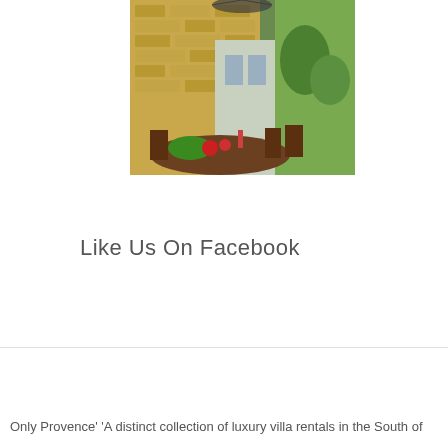[Figure (photo): Outdoor dining scene at a Provençal stone building. A table is set with food — vegetables, fruits, a candle — surrounded by wooden chairs. Behind is a stone wall with arched windows, and greenery/garden visible to the right.]
Like Us On Facebook
Only Provence' 'A distinct collection of luxury villa rentals in the South of